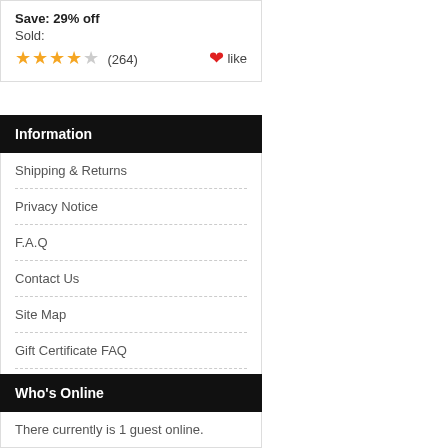Save: 29% off
Sold:
★★★★☆ (264)  ❤like
Information
Shipping & Returns
Privacy Notice
F.A.Q
Contact Us
Site Map
Gift Certificate FAQ
Discount Coupons
Newsletter Unsubscribe
Who's Online
There currently is 1 guest online.